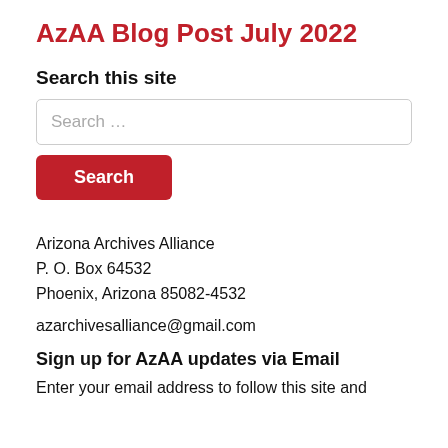AzAA Blog Post July 2022
Search this site
Search ...
Search
Arizona Archives Alliance
P. O. Box 64532
Phoenix, Arizona 85082-4532
azarchivesalliance@gmail.com
Sign up for AzAA updates via Email
Enter your email address to follow this site and